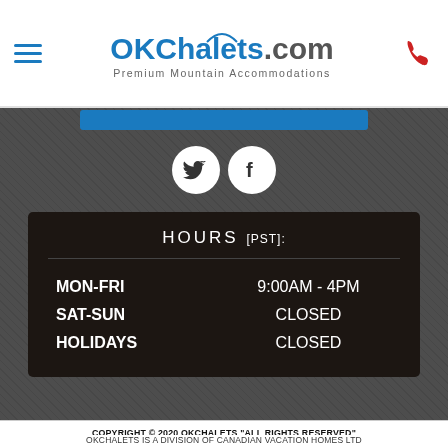OKChalets.com - Premium Mountain Accommodations
[Figure (logo): OKChalets.com logo with mountain graphic and tagline 'Premium Mountain Accommodations']
[Figure (illustration): Twitter and Facebook social media icon circles on dark background]
| MON-FRI | 9:00AM - 4PM |
| SAT-SUN | CLOSED |
| HOLIDAYS | CLOSED |
COPYRIGHT © 2020 OKCHALETS "ALL RIGHTS RESERVED"
OKCHALETS IS A DIVISION OF CANADIAN VACATION HOMES LTD
[Figure (logo): BBB Accredited Business badge and Consumer Protection BC Licence #34873 badge]